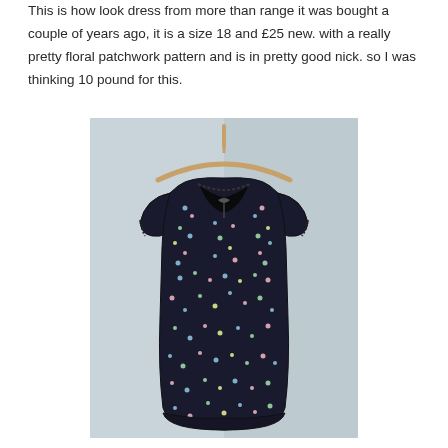This is how look dress from more than range it was bought a couple of years ago, it is a size 18 and £25 new. with a really pretty floral patchwork pattern and is in pretty good nick. so I was thinking 10 pound for this.
[Figure (photo): A dark navy/black floral patchwork dress with short flutter sleeves and a V-neckline with black lace trim, hanging on a wooden hanger against a light blue-grey background.]